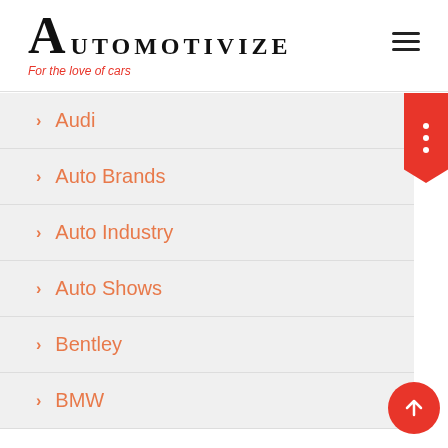AUTOMOTIVIZE — For the love of cars
Audi
Auto Brands
Auto Industry
Auto Shows
Bentley
BMW